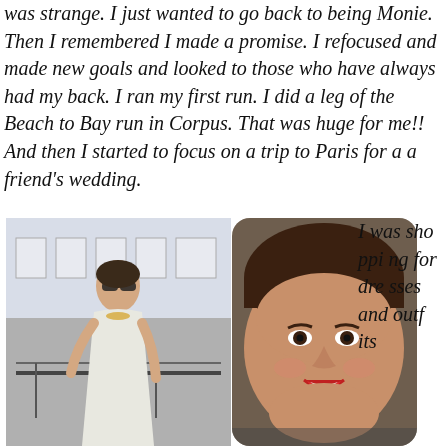was strange. I just wanted to go back to being Monie. Then I remembered I made a promise. I refocused and made new goals and looked to those who have always had my back. I ran my first run. I did a leg of the Beach to Bay run in Corpus. That was huge for me!! And then I started to focus on a trip to Paris for a a friend's wedding.
[Figure (photo): Two photos side by side: left photo shows a woman in a white strapless dress standing on a balcony with sunglasses; right photo shows a close-up portrait of a smiling woman with red lipstick.]
I was shopping for dresses and outfits